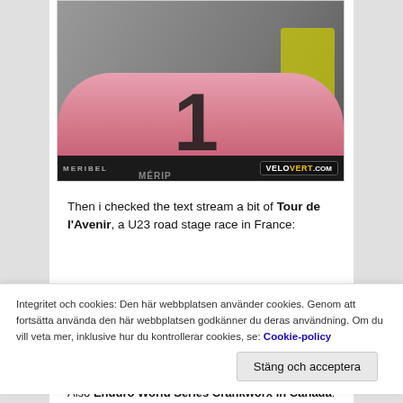[Figure (photo): A pink mountain bike race number plate (number 1) with flowers in the foreground, MERIBEL text and VELOVERT.COM badge at the bottom, UCI Mountain Bike World Cup branding visible at top]
Then i checked the text stream a bit of Tour de l'Avenir, a U23 road stage race in France:
Integritet och cookies: Den här webbplatsen använder cookies. Genom att fortsätta använda den här webbplatsen godkänner du deras användning. Om du vill veta mer, inklusive hur du kontrollerar cookies, se: Cookie-policy
Stäng och acceptera
Also Enduro World Series Crankworx in Canada: